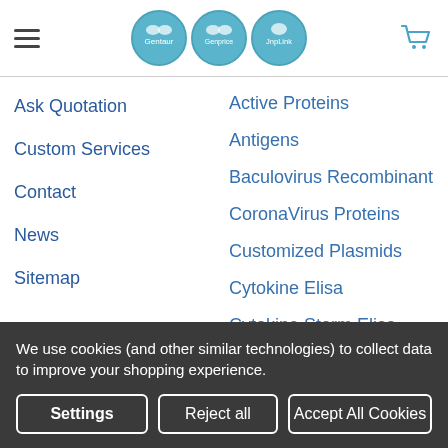Gentaur | Genprice | JnpLink — navigation header with hamburger menu, logos, and cart icon
Ask Quotation
Custom Services
Contact
News
Sitemap
Active Proteins
Antigens
Baculovirus Recombinant
CoronaVirus Proteins
Customized Plasmids
Cytokine Elisa
Cytokine Storm Elisa
E.coli Recombinant
We use cookies (and other similar technologies) to collect data to improve your shopping experience.
Settings | Reject all | Accept All Cookies